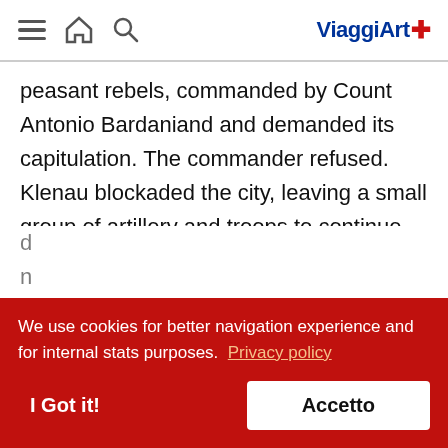ViaggiArt — navigation header with menu, home, search icons and ViaggiArt logo
peasant rebels, commanded by Count Antonio Bardaniand and demanded its capitulation. The commander refused. Klenau blockaded the city, leaving a small group of artillery and troops to continue the siege. For the next three days, Klenau patrolled the
We use cookies for better navigation experience and for internal stats purposes. Privacy policy
I Got it!
Accetto